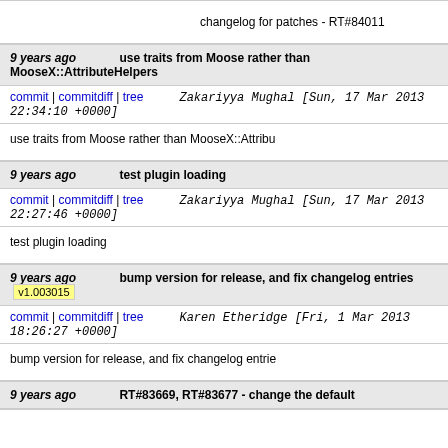changelog for patches - RT#84011
9 years ago   use traits from Moose rather than MooseX::AttributeHelpers
commit | commitdiff | tree   Zakariyya Mughal [Sun, 17 Mar 2013 22:34:10 +0000]
use traits from Moose rather than MooseX::Attribu
9 years ago   test plugin loading
commit | commitdiff | tree   Zakariyya Mughal [Sun, 17 Mar 2013 22:27:46 +0000]
test plugin loading
9 years ago   bump version for release, and fix changelog entries  v1.003015
commit | commitdiff | tree   Karen Etheridge [Fri, 1 Mar 2013 18:26:27 +0000]
bump version for release, and fix changelog entrie
9 years ago   RT#83669, RT#83677 - change the default